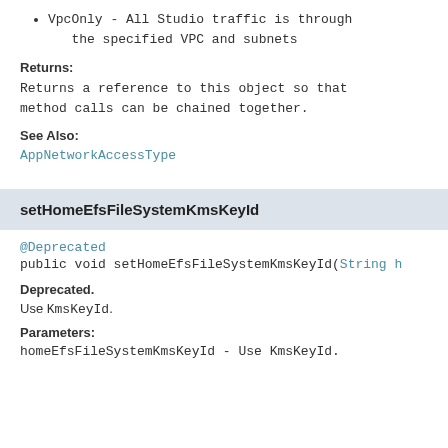VpcOnly - All Studio traffic is through the specified VPC and subnets
Returns:
Returns a reference to this object so that method calls can be chained together.
See Also:
AppNetworkAccessType
setHomeEfsFileSystemKmsKeyId
@Deprecated
public void setHomeEfsFileSystemKmsKeyId(String h
Deprecated.
Use KmsKeyId.
Parameters:
homeEfsFileSystemKmsKeyId - Use KmsKeyId.